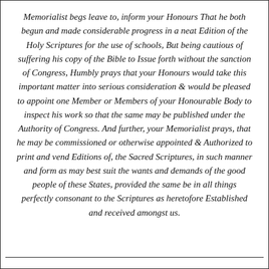Memorialist begs leave to, inform your Honours That he both begun and made considerable progress in a neat Edition of the Holy Scriptures for the use of schools, But being cautious of suffering his copy of the Bible to Issue forth without the sanction of Congress, Humbly prays that your Honours would take this important matter into serious consideration & would be pleased to appoint one Member or Members of your Honourable Body to inspect his work so that the same may be published under the Authority of Congress. And further, your Memorialist prays, that he may be commissioned or otherwise appointed & Authorized to print and vend Editions of, the Sacred Scriptures, in such manner and form as may best suit the wants and demands of the good people of these States, provided the same be in all things perfectly consonant to the Scriptures as heretofore Established and received amongst us.